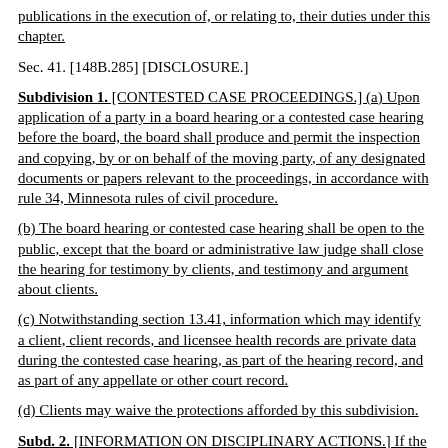publications in the execution of, or relating to, their duties under this chapter.
Sec. 41. [148B.285] [DISCLOSURE.]
Subdivision 1. [CONTESTED CASE PROCEEDINGS.] (a) Upon application of a party in a board hearing or a contested case hearing before the board, the board shall produce and permit the inspection and copying, by or on behalf of the moving party, of any designated documents or papers relevant to the proceedings, in accordance with rule 34, Minnesota rules of civil procedure.
(b) The board hearing or contested case hearing shall be open to the public, except that the board or administrative law judge shall close the hearing for testimony by clients, and testimony and argument about clients.
(c) Notwithstanding section 13.41, information which may identify a client, client records, and licensee health records are private data during the contested case hearing, as part of the hearing record, and as part of any appellate or other court record.
(d) Clients may waive the protections afforded by this subdivision.
Subd. 2. [INFORMATION ON DISCIPLINARY ACTIONS.] If the board issues a disciplinary order or...